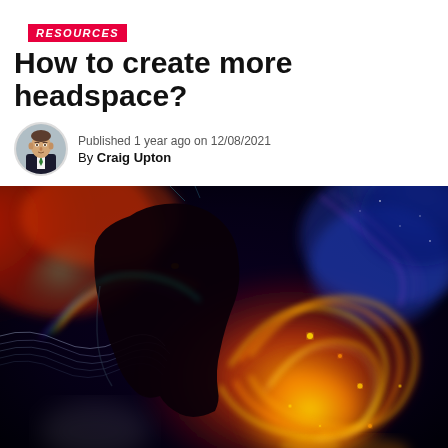RESOURCES
How to create more headspace?
Published 1 year ago on 12/08/2021
By Craig Upton
[Figure (photo): Artistic digital illustration of a human head silhouette in profile with colorful cosmic swirling energy, neural patterns, and glowing light elements against a dark background with orange, blue, red, and gold tones]